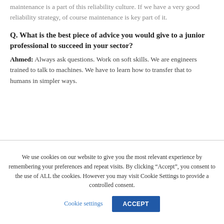maintenance is a part of this reliability culture. If we have a very good reliability strategy, of course maintenance is key part of it.
Q. What is the best piece of advice you would give to a junior professional to succeed in your sector?
Ahmed: Always ask questions. Work on soft skills. We are engineers trained to talk to machines. We have to learn how to transfer that to humans in simpler ways.
We use cookies on our website to give you the most relevant experience by remembering your preferences and repeat visits. By clicking “Accept”, you consent to the use of ALL the cookies. However you may visit Cookie Settings to provide a controlled consent.